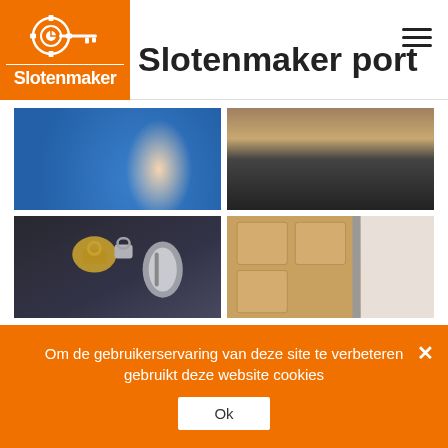[Figure (logo): Slotenmaker logo: orange box with gear-clock-key icon and white text 'Slotenmaker']
Slotenmaker port
[Figure (photo): Two-by-two grid of locksmith service photos: man in blue shirt installing security camera, locksmith installing door hardware, door handles and locks, tool working on door]
Om de gebruikerservaring van deze site te verbeteren gebruikt deze website cookies
Ok